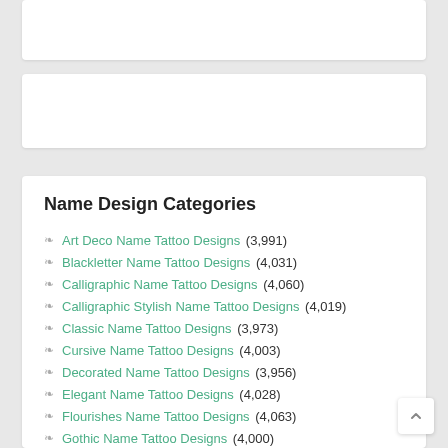Name Design Categories
Art Deco Name Tattoo Designs (3,991)
Blackletter Name Tattoo Designs (4,031)
Calligraphic Name Tattoo Designs (4,060)
Calligraphic Stylish Name Tattoo Designs (4,019)
Classic Name Tattoo Designs (3,973)
Cursive Name Tattoo Designs (4,003)
Decorated Name Tattoo Designs (3,956)
Elegant Name Tattoo Designs (4,028)
Flourishes Name Tattoo Designs (4,063)
Gothic Name Tattoo Designs (4,000+)